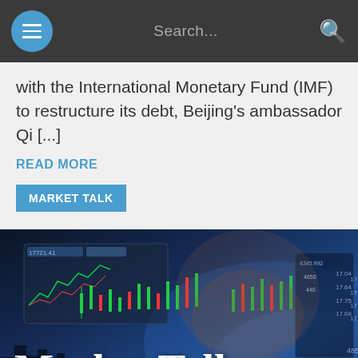Search...
with the International Monetary Fund (IMF) to restructure its debt, Beijing's ambassador Qi [...]
READ MORE
MARKET TALK
[Figure (photo): Market Talk banner image showing a person in front of stock market charts and trading data displays, with 'Market Talk' text overlaid in white serif font. Candlestick charts and price numbers (4346.992, 4650, 4850, 4800, 4750, 4700) visible in background.]